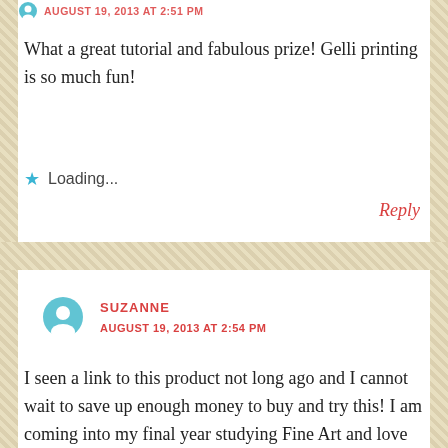AUGUST 19, 2013 AT 2:51 PM
What a great tutorial and fabulous prize! Gelli printing is so much fun!
Loading...
Reply
SUZANNE
AUGUST 19, 2013 AT 2:54 PM
I seen a link to this product not long ago and I cannot wait to save up enough money to buy and try this! I am coming into my final year studying Fine Art and love printing however its so messy the 'original' way but this